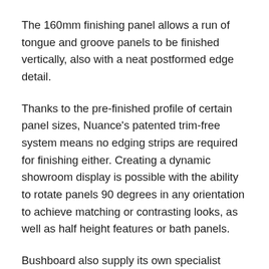The 160mm finishing panel allows a run of tongue and groove panels to be finished vertically, also with a neat postformed edge detail.
Thanks to the pre-finished profile of certain panel sizes, Nuance's patented trim-free system means no edging strips are required for finishing either. Creating a dynamic showroom display is possible with the ability to rotate panels 90 degrees in any orientation to achieve matching or contrasting looks, as well as half height features or bath panels.
Bushboard also supply its own specialist 'Complete' adhesive and sealant which easily provides a professional and watertight finish. Available in 10 colourways which have been matched to the full range, Complete's advanced formulation